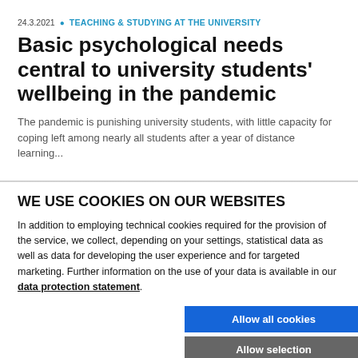24.3.2021 • TEACHING & STUDYING AT THE UNIVERSITY
Basic psychological needs central to university students' wellbeing in the pandemic
The pandemic is punishing university students, with little capacity for coping left among nearly all students after a year of distance learning...
WE USE COOKIES ON OUR WEBSITES
In addition to employing technical cookies required for the provision of the service, we collect, depending on your settings, statistical data as well as data for developing the user experience and for targeted marketing. Further information on the use of your data is available in our data protection statement.
Allow all cookies
Allow selection
Use necessary cookies only
Necessary technical cookies | Functional cookies | Show details | Statistics cookies | Marketing cookies